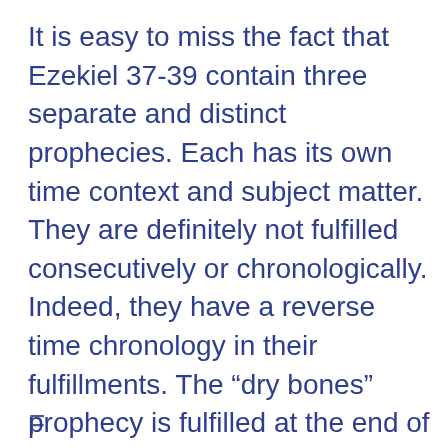It is easy to miss the fact that Ezekiel 37-39 contain three separate and distinct prophecies. Each has its own time context and subject matter. They are definitely not fulfilled consecutively or chronologically. Indeed, they have a reverse time chronology in their fulfillments. The “dry bones” prophecy is fulfilled at the end of the millennium, the “two sticks” prophecy is fulfilled at the beginning of the millennium and Ezekiel 38-39 is fulfilled in the “latter days” of our current age (Ezekiel 38:8 and 16).